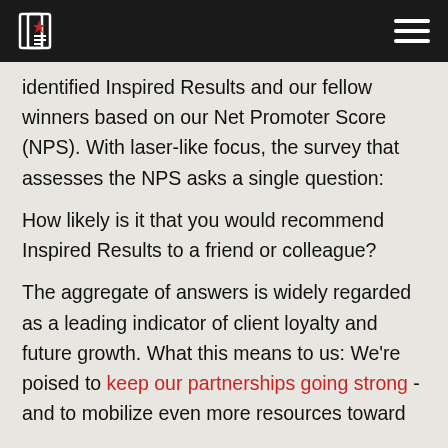[Logo: Inspired Results] [Hamburger menu icon]
identified Inspired Results and our fellow winners based on our Net Promoter Score (NPS). With laser-like focus, the survey that assesses the NPS asks a single question:

How likely is it that you would recommend Inspired Results to a friend or colleague?

The aggregate of answers is widely regarded as a leading indicator of client loyalty and future growth. What this means to us: We're poised to keep our partnerships going strong - and to mobilize even more resources toward